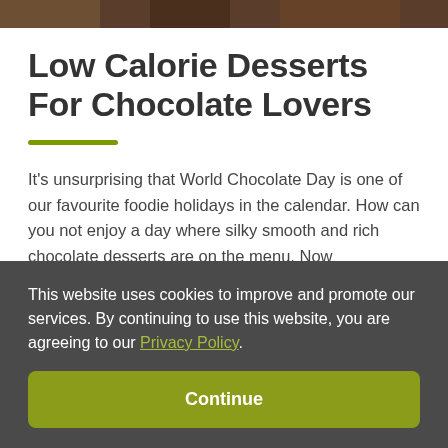[Figure (photo): Top strip showing partial image of chocolate desserts]
Low Calorie Desserts For Chocolate Lovers
It’s unsurprising that World Chocolate Day is one of our favourite foodie holidays in the calendar. How can you not enjoy a day where silky smooth and rich chocolate desserts are on the menu. Now
This website uses cookies to improve and promote our services. By continuing to use this website, you are agreeing to our Privacy Policy.
Continue